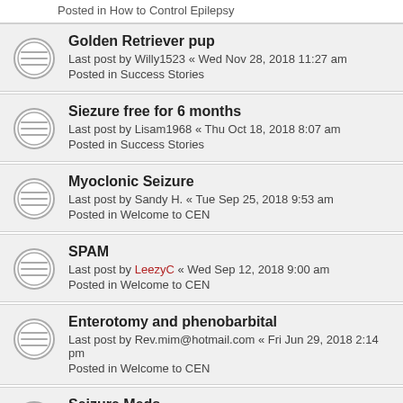Posted in How to Control Epilepsy
Golden Retriever pup
Last post by Willy1523 « Wed Nov 28, 2018 11:27 am
Posted in Success Stories
Siezure free for 6 months
Last post by Lisam1968 « Thu Oct 18, 2018 8:07 am
Posted in Success Stories
Myoclonic Seizure
Last post by Sandy H. « Tue Sep 25, 2018 9:53 am
Posted in Welcome to CEN
SPAM
Last post by LeezyC « Wed Sep 12, 2018 9:00 am
Posted in Welcome to CEN
Enterotomy and phenobarbital
Last post by Rev.mim@hotmail.com « Fri Jun 29, 2018 2:14 pm
Posted in Welcome to CEN
Seizure Meds